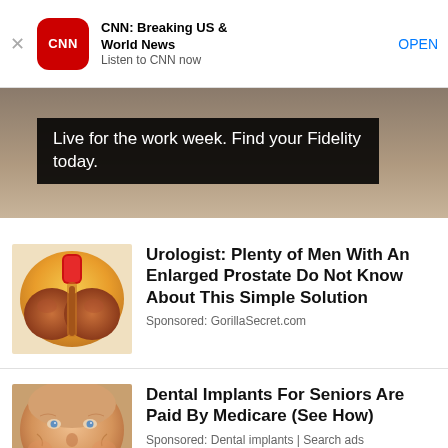[Figure (screenshot): CNN app banner with red CNN logo icon, app name 'CNN: Breaking US & World News', subtitle 'Listen to CNN now', and OPEN button]
[Figure (photo): Fidelity advertisement with dark overlay text: 'Live for the work week. Find your Fidelity today.']
[Figure (illustration): Medical illustration of enlarged prostate anatomy in orange, red and brown tones]
Urologist: Plenty of Men With An Enlarged Prostate Do Not Know About This Simple Solution
Sponsored: GorillaSecret.com
[Figure (photo): Close-up photo of smiling senior man's face showing teeth]
Dental Implants For Seniors Are Paid By Medicare (See How)
Sponsored: Dental implants | Search ads